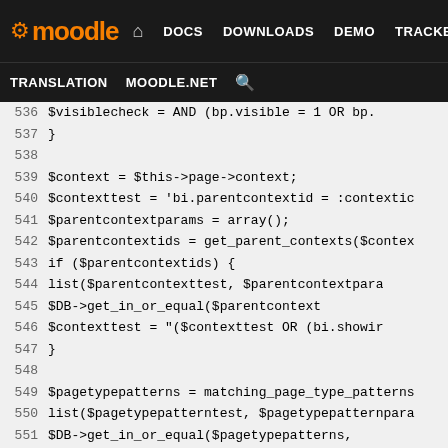Moodle | DOCS  DOWNLOADS  DEMO  TRACKER  DEV | TRANSLATION  MOODLE.NET
[Figure (screenshot): Moodle developer site navigation header with black background, orange Moodle logo, nav links: DOCS, DOWNLOADS, DEMO, TRACKER, DEV (highlighted in purple), TRANSLATION, MOODLE.NET, and search icon]
Code viewer showing PHP source code lines 536-562 from a Moodle block library file, including variables: $visiblecheck, $context, $contexttest, $parentcontextparams, $parentcontextids, $pagetypepatterns, $ccselect/$ccjoin, $params array with subpage1, subpage2, contextid1, contextid2, pagetype keys